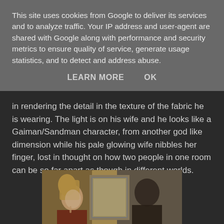This site uses cookies from Google to deliver its services and to analyze traffic. Your IP address and user-agent are shared with Google along with performance and security metrics to ensure quality of service, generate usage statistics, and to detect and address abuse.
LEARN MORE    OK
in rendering the detail in the texture of the fabric he is wearing. The light is on his wife and he looks like a Gaiman/Sandman character, from another god like dimension while his pale glowing wife nibbles her finger, lost in thought on how two people in one room can be so far apart as though in different worlds.
[Figure (photo): A painting showing two figures - a woman with blonde hair on the left in profile view, and a darker figure on the right, rendered in warm golden-brown and grey tones with a framed picture visible in the background.]